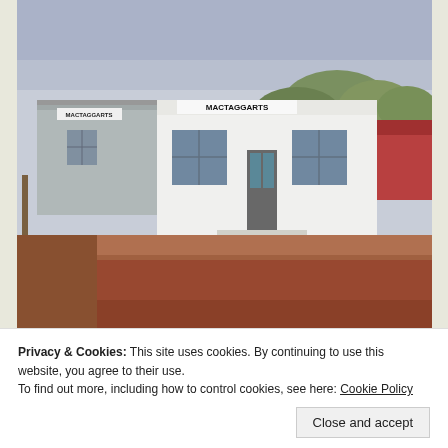[Figure (photo): A vintage photograph of Mactaggarts office building at Surat. Shows a small white commercial building with a sign reading 'MACTAGGARTS' and a separate shed-like structure to the left also labeled 'MACTAGGARTS'. Red dirt road in front, trees and other buildings visible in background.]
Mactaggarts Office at Surat
Privacy & Cookies: This site uses cookies. By continuing to use this website, you agree to their use.
To find out more, including how to control cookies, see here: Cookie Policy
about establishing his business on paddock sales or